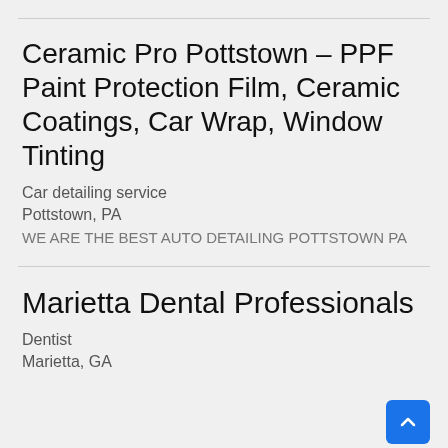Ceramic Pro Pottstown – PPF Paint Protection Film, Ceramic Coatings, Car Wrap, Window Tinting
Car detailing service
Pottstown, PA
WE ARE THE BEST AUTO DETAILING POTTSTOWN PA
Marietta Dental Professionals
Dentist
Marietta, GA